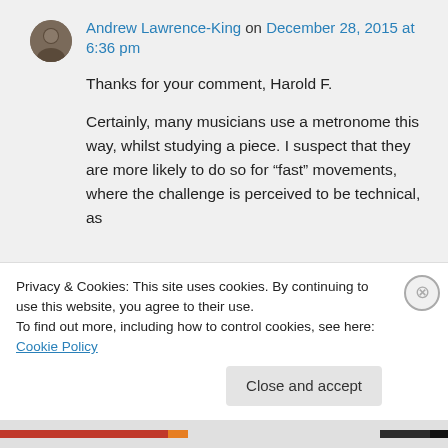Andrew Lawrence-King on December 28, 2015 at 6:36 pm
Thanks for your comment, Harold F.
Certainly, many musicians use a metronome this way, whilst studying a piece. I suspect that they are more likely to do so for “fast” movements, where the challenge is perceived to be technical, as
Privacy & Cookies: This site uses cookies. By continuing to use this website, you agree to their use. To find out more, including how to control cookies, see here: Cookie Policy
Close and accept